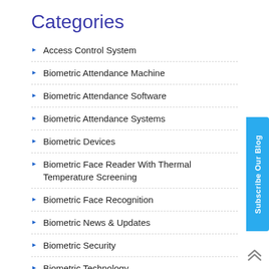Categories
Access Control System
Biometric Attendance Machine
Biometric Attendance Software
Biometric Attendance Systems
Biometric Devices
Biometric Face Reader With Thermal Temperature Screening
Biometric Face Recognition
Biometric News & Updates
Biometric Security
Biometric Technology
Biometric Technology at Airport
Biometric Trends